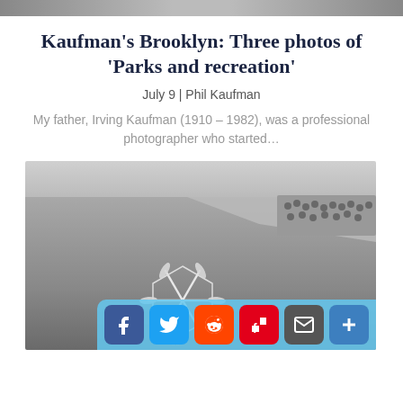Kaufman's Brooklyn: Three photos of 'Parks and recreation'
July 9 | Phil Kaufman
My father, Irving Kaufman (1910 – 1982), was a professional photographer who started...
[Figure (photo): Black and white photograph of swimmers forming a star shape in a large outdoor pool, with spectators visible along the poolside in the background.]